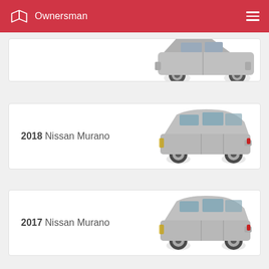Ownersman
[Figure (photo): Partial view of a silver Nissan SUV (top card, cropped)]
2018 Nissan Murano
[Figure (photo): Silver Nissan Murano SUV side view]
2017 Nissan Murano
[Figure (photo): Silver Nissan Murano SUV side view]